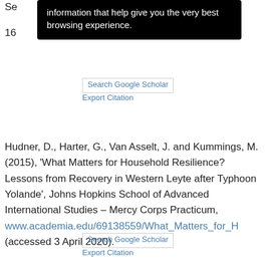information that help give you the very best browsing experience.
Search Google Scholar
Export Citation
Hudner, D., Harter, G., Van Asselt, J. and Kummings, M. (2015), ‘What Matters for Household Resilience? Lessons from Recovery in Western Leyte after Typhoon Yolande’, Johns Hopkins School of Advanced International Studies – Mercy Corps Practicum, www.academia.edu/69138559/What_Matters_for_H (accessed 3 April 2020).
Search Google Scholar
Export Citation